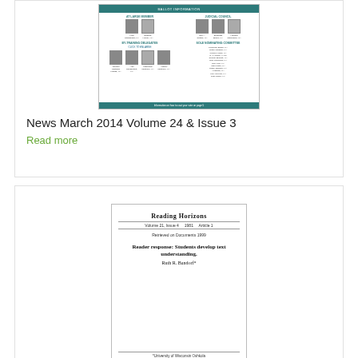[Figure (other): Thumbnail image of a ballot/newsletter page showing candidate photos organized in columns with teal header bars]
News March 2014 Volume 24 & Issue 3
Read more
[Figure (other): Thumbnail image of Reading Horizons journal article page: 'Reader response: Students develop text understanding' by Ruth R. Bandorf]
DECEMBER Volume 40, Issue Article 2